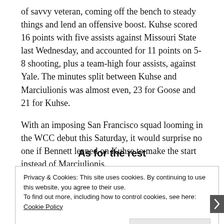of savvy veteran, coming off the bench to steady things and lend an offensive boost. Kuhse scored 16 points with five assists against Missouri State last Wednesday, and accounted for 11 points on 5-8 shooting, plus a team-high four assists, against Yale. The minutes split between Kuhse and Marciulionis was almost even, 23 for Goose and 21 for Kuhse.
With an imposing San Francisco squad looming in the WCC debut this Saturday, it would surprise no one if Bennett leaned on Kuhse to make the start instead of Marciulionis.
As for the rest
Privacy & Cookies: This site uses cookies. By continuing to use this website, you agree to their use. To find out more, including how to control cookies, see here: Cookie Policy